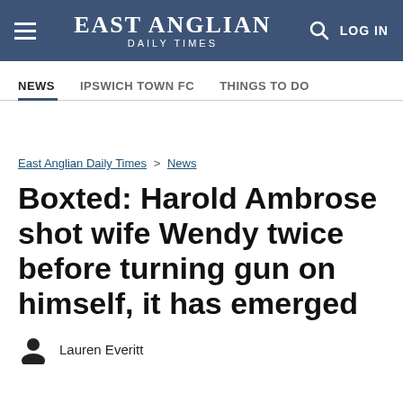EAST ANGLIAN DAILY TIMES
NEWS | IPSWICH TOWN FC | THINGS TO DO
East Anglian Daily Times > News
Boxted: Harold Ambrose shot wife Wendy twice before turning gun on himself, it has emerged
Lauren Everitt